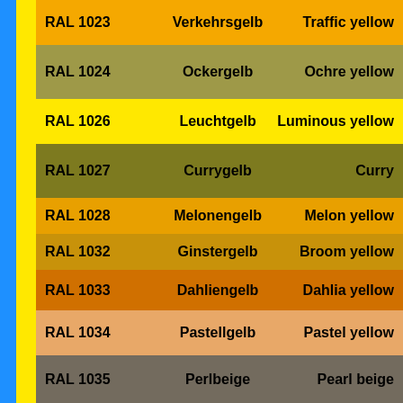| Code | German Name | English Name |
| --- | --- | --- |
| RAL 1023 | Verkehrsgelb | Traffic yellow |
| RAL 1024 | Ockergelb | Ochre yellow |
| RAL 1026 | Leuchtgelb | Luminous yellow |
| RAL 1027 | Currygelb | Curry |
| RAL 1028 | Melonengelb | Melon yellow |
| RAL 1032 | Ginstergelb | Broom yellow |
| RAL 1033 | Dahliengelb | Dahlia yellow |
| RAL 1034 | Pastellgelb | Pastel yellow |
| RAL 1035 | Perlbeige | Pearl beige |